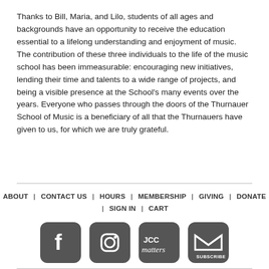Thanks to Bill, Maria, and Lilo, students of all ages and backgrounds have an opportunity to receive the education essential to a lifelong understanding and enjoyment of music. The contribution of these three individuals to the life of the music school has been immeasurable: encouraging new initiatives, lending their time and talents to a wide range of projects, and being a visible presence at the School's many events over the years. Everyone who passes through the doors of the Thurnauer School of Music is a beneficiary of all that the Thurnauers have given to us, for which we are truly grateful.
ABOUT | CONTACT US | HOURS | MEMBERSHIP | GIVING | DONATE | SIGN IN | CART
[Figure (other): Social media icons: Facebook, Instagram, JCC Matters, Subscribe (email)]